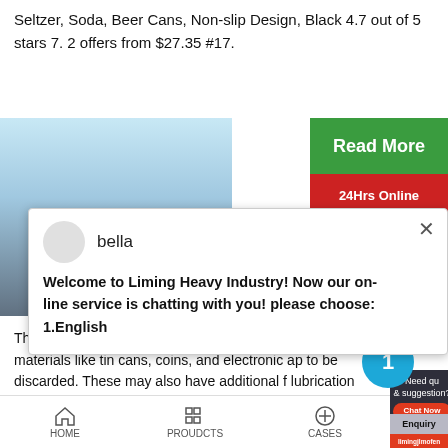Seltzer, Soda, Beer Cans, Non-slip Design, Black 4.7 out of 5 stars 7. 2 offers from $27.35 #17.
[Figure (photo): Product or industrial image with sky/outdoor background]
[Figure (infographic): Green Read More button and red 24Hrs Online banner on right side]
bella
Welcome to Liming Heavy Industry! Now our on-line service is chatting with you! please choose: 1.English
The metal can crusher recycling machine on Aliba on materials like tin cans, coins, and electronic ap to be discarded. These may also have additional f lubrication system and a cooling system. The ma offered are easy to maintain and clean, ensuring t operational.
Need qu & suggestion? Chat Now
Enquiry
limingjlmofen
HOME   PROUDCTS   CASES